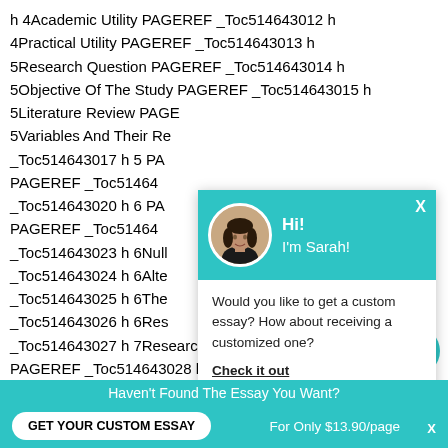h 4Academic Utility PAGEREF _Toc514643012 h 4Practical Utility PAGEREF _Toc514643013 h 5Research Question PAGEREF _Toc514643014 h 5Objective Of The Study PAGEREF _Toc514643015 h 5Literature Review PAGEREF _Toc514643016 h 5Variables And Their Re... _Toc514643017 h 5 PA... PAGEREF _Toc5146430... _Toc514643020 h 6 PA... PAGEREF _Toc5146430... _Toc514643023 h 6Null _Toc514643024 h 6Alte _Toc514643025 h 6The _Toc514643026 h 6Res _Toc514643027 h 7Research Design And Stra... PAGEREF _Toc514643028 h 7Sampling PAGERE...
[Figure (screenshot): Chat popup with avatar of Sarah (woman with dark hair), teal header saying 'Hi! I'm Sarah!', body text 'Would you like to get a custom essay? How about receiving a customized one?' and a bold underlined link 'Check it out']
Haven't Found The Essay You Want?
GET YOUR CUSTOM ESSAY
For Only $13.90/page